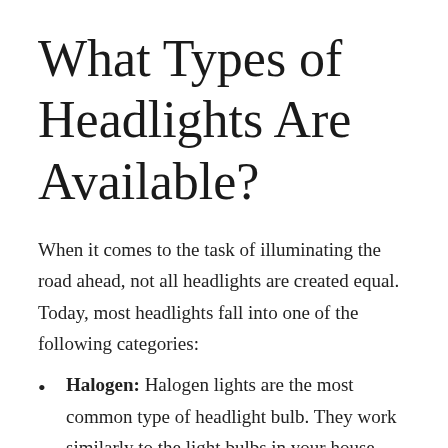What Types of Headlights Are Available?
When it comes to the task of illuminating the road ahead, not all headlights are created equal. Today, most headlights fall into one of the following categories:
Halogen: Halogen lights are the most common type of headlight bulb. They work similarly to the light bulbs in your house. Light travels